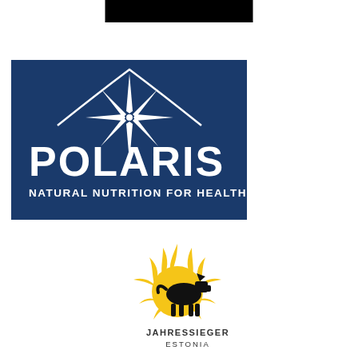[Figure (logo): Black rectangular bar at top center of page]
[Figure (logo): Polaris Natural Nutrition For Health logo on dark navy blue background. Features a white multi-pointed star/compass rose symbol above large white bold text 'POLARIS' with tagline 'NATURAL NUTRITION FOR HEALTH' below in white uppercase letters.]
[Figure (logo): Jahressieger Estonia logo: a golden/yellow sun with flame-like rays, with a black silhouette of a dog (Boxer breed) standing in front of it. Text below reads 'JAHRESSIEGER ESTONIA' in small uppercase letters.]